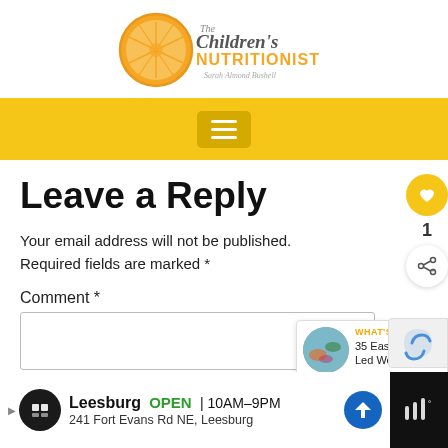[Figure (logo): The Children's Nutritionist logo with orange slice and text 'The Children's NUTRITIONIST Sarah Almond Bushell']
[Figure (screenshot): Yellow navigation bar with hamburger menu icon]
Leave a Reply
Your email address will not be published. Required fields are marked *
Comment *
[Figure (screenshot): Comment text input box]
[Figure (infographic): Floating widget with heart button (yellow) showing count 1 and share button]
[Figure (screenshot): What's Next panel showing '35 Easy Baby Led Weanin...' with circular thumbnail image]
[Figure (screenshot): reCAPTCHA widget]
[Figure (screenshot): Ad bar: Leesburg OPEN 10AM-9PM 241 Fort Evans Rd NE, Leesburg with navigation icons]